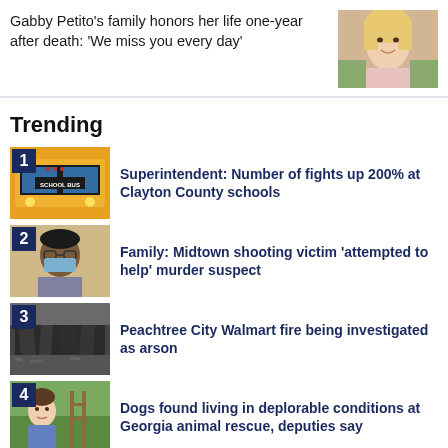Gabby Petito's family honors her life one-year after death: 'We miss you every day'
[Figure (photo): Photo of Gabby Petito, a young blonde woman smiling]
Trending
[Figure (photo): School bus with number badge 1]
Superintendent: Number of fights up 200% at Clayton County schools
[Figure (photo): Person wearing glasses and mask with number badge 2]
Family: Midtown shooting victim 'attempted to help' murder suspect
[Figure (photo): Burned structure with number badge 3]
Peachtree City Walmart fire being investigated as arson
[Figure (photo): Child outdoors with number badge 4]
Dogs found living in deplorable conditions at Georgia animal rescue, deputies say